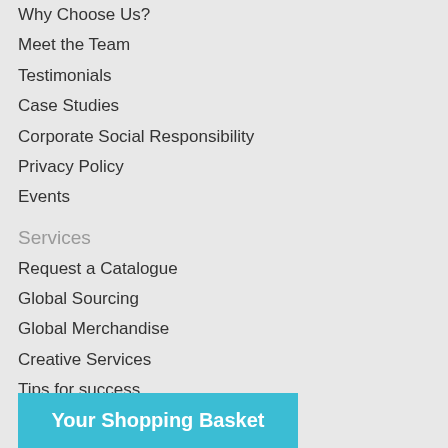Why Choose Us?
Meet the Team
Testimonials
Case Studies
Corporate Social Responsibility
Privacy Policy
Events
Services
Request a Catalogue
Global Sourcing
Global Merchandise
Creative Services
Tips for success
Latest News
B... illboard for your
[Figure (screenshot): Your Shopping Basket blue banner overlay]